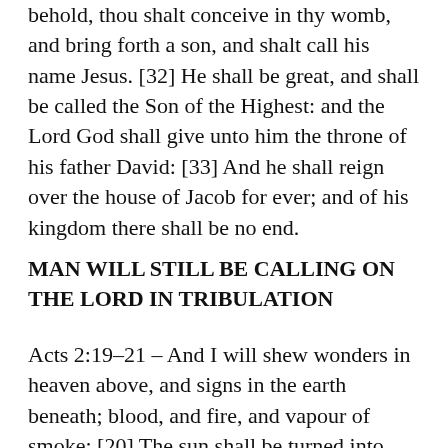behold, thou shalt conceive in thy womb, and bring forth a son, and shalt call his name Jesus. [32] He shall be great, and shall be called the Son of the Highest: and the Lord God shall give unto him the throne of his father David: [33] And he shall reign over the house of Jacob for ever; and of his kingdom there shall be no end.
MAN WILL STILL BE CALLING ON THE LORD IN TRIBULATION
Acts 2:19–21 – And I will shew wonders in heaven above, and signs in the earth beneath; blood, and fire, and vapour of smoke: [20] The sun shall be turned into darkness, and the moon into blood, before that great and notable day of the Lord come: [21] And it shall come to